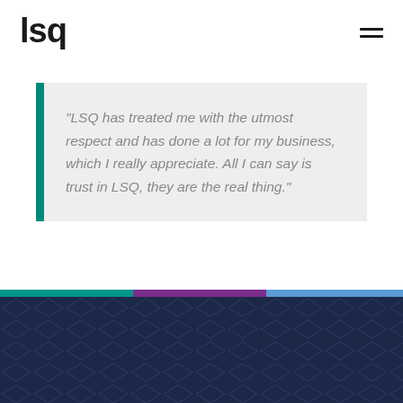[Figure (logo): LSQ company logo in bold black lowercase text]
"LSQ has treated me with the utmost respect and has done a lot for my business, which I really appreciate. All I can say is trust in LSQ, they are the real thing."
[Figure (infographic): Color bar strip with teal, purple, and blue sections followed by dark navy footer with diamond pattern]